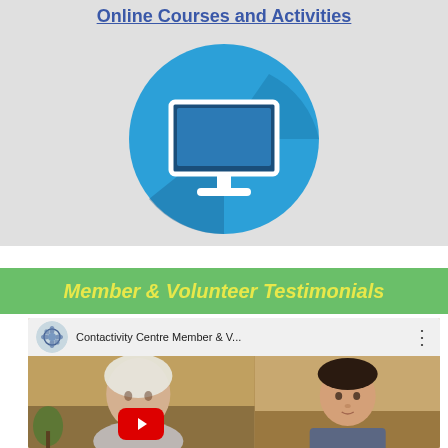Online Courses and Activities
[Figure (illustration): Blue circle icon with a white desktop monitor/computer screen icon on a light grey background]
Member & Volunteer Testimonials
[Figure (screenshot): YouTube video thumbnail showing 'Contactivity Centre Member & V...' with two people visible and a red play button]